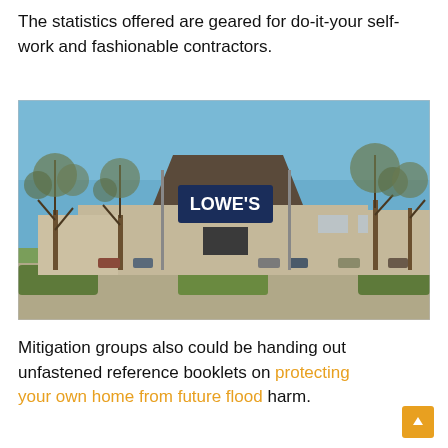The statistics offered are geared for do-it-your self-work and fashionable contractors.
[Figure (photo): Exterior photograph of a Lowe's home improvement store with trees in the foreground and a blue sky background.]
Mitigation groups also could be handing out unfastened reference booklets on protecting your own home from future flood harm.